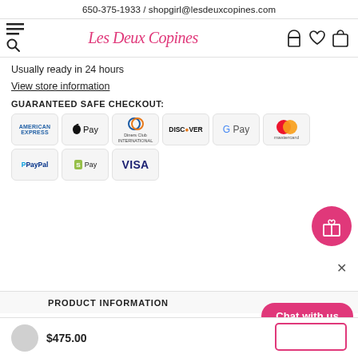650-375-1933 / shopgirl@lesdeuxcopines.com
[Figure (logo): Les Deux Copines cursive pink logo with hamburger menu and search icon on left, user/heart/bag icons on right]
Usually ready in 24 hours
View store information
GUARANTEED SAFE CHECKOUT:
[Figure (infographic): Payment method badges: American Express, Apple Pay, Diners Club International, Discover, G Pay, Mastercard, PayPal, Shopify Pay, VISA]
PRODUCT INFORMATION
Chat with us
$475.00